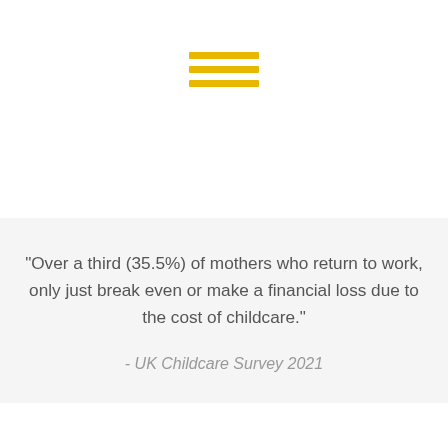[Figure (other): Three horizontal yellow bars forming a hamburger/menu icon, centered near the top of the page]
“Over a third (35.5%) of mothers who return to work, only just break even or make a financial loss due to the cost of childcare.”

- UK Childcare Survey 2021